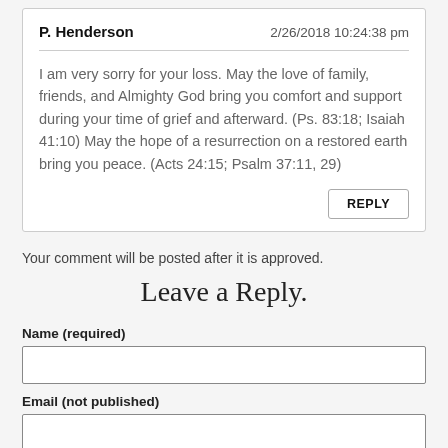P. Henderson
2/26/2018 10:24:38 pm
I am very sorry for your loss. May the love of family, friends, and Almighty God bring you comfort and support during your time of grief and afterward. (Ps. 83:18; Isaiah 41:10) May the hope of a resurrection on a restored earth bring you peace. (Acts 24:15; Psalm 37:11, 29)
REPLY
Your comment will be posted after it is approved.
Leave a Reply.
Name (required)
Email (not published)
Website